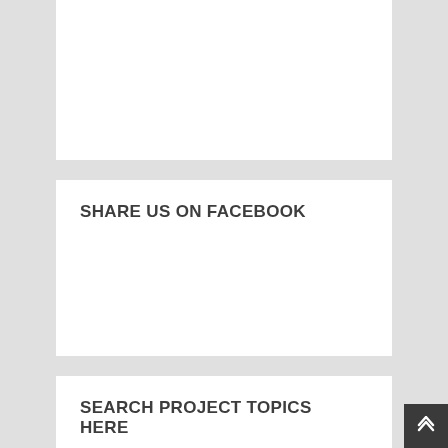[Figure (other): White rectangular content box, empty (top section)]
SHARE US ON FACEBOOK
SEARCH PROJECT TOPICS HERE